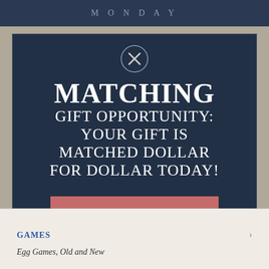MONDAY
[Figure (screenshot): Modal overlay with dark navy blue background showing a matching gift fundraising appeal. Contains a close (X) button at the top, large white text reading 'MATCHING GIFT OPPORTUNITY: YOUR GIFT IS MATCHED DOLLAR FOR DOLLAR TODAY!', and a salmon/red call-to-action button labeled 'Match My Gift'.]
GAMES
Egg Games, Old and New